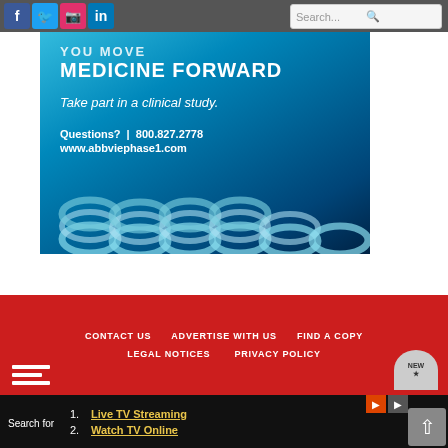[Figure (screenshot): Website header with social media icons (Facebook, Twitter, Instagram, LinkedIn) and a search bar]
[Figure (photo): AbbVie Phase 1 clinical study advertisement with blue laboratory background showing metal rings/tubes. Text: YOU MOVE MEDICINE FORWARD. Take part in a clinical study. Questions? | 800.827.2778 www.abbviephase1.com]
CONTACT US   ADVERTISE WITH US   FIND A COPY   LEGAL NOTICES   PRIVACY POLICY
1. Live TV Streaming
2. Watch TV Online